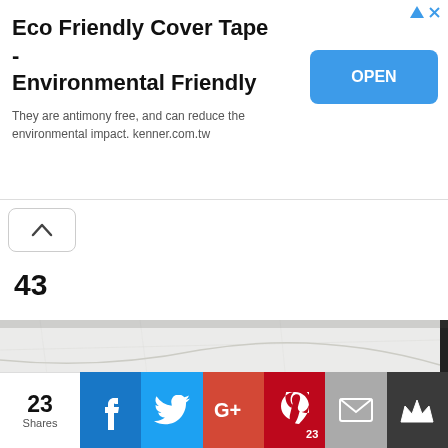[Figure (infographic): Advertisement banner for Eco Friendly Cover Tape - Environmental Friendly with an OPEN button]
43
[Figure (photo): Close-up photo of a white paper/tape roll]
23 Shares — social sharing bar with Facebook, Twitter, Google+, Pinterest, Email, and Crown buttons